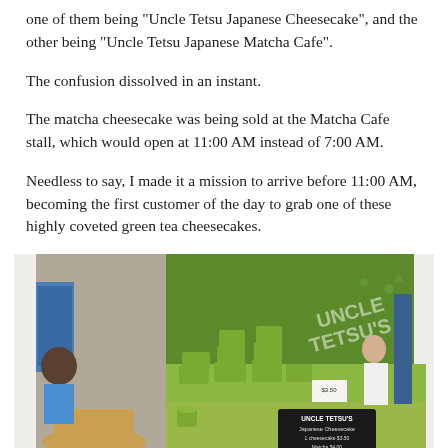one of them being "Uncle Tetsu Japanese Cheesecake", and the other being "Uncle Tetsu Japanese Matcha Cafe".
The confusion dissolved in an instant.
The matcha cheesecake was being sold at the Matcha Cafe stall, which would open at 11:00 AM instead of 7:00 AM.
Needless to say, I made it a mission to arrive before 11:00 AM, becoming the first customer of the day to grab one of these highly coveted green tea cheesecakes.
[Figure (photo): Interior photo of Uncle Tetsu's Japanese Matcha Cafe stall with green walls decorated with cherry blossoms and the text 'UNCLE TETSU'S'. Stacks of green boxed cheesecakes are displayed on the counter. A staff member in white is visible behind the counter. A chalkboard menu reading 'UNCLE TETSU'S Japanese Cheesecake' is in the foreground.]